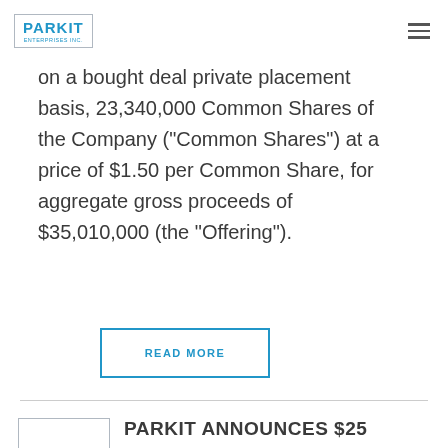PARKIT ENTERPRISES INC.
on a bought deal private placement basis, 23,340,000 Common Shares of the Company ("Common Shares") at a price of $1.50 per Common Share, for aggregate gross proceeds of $35,010,000 (the "Offering").
READ MORE
PARKIT ANNOUNCES $25